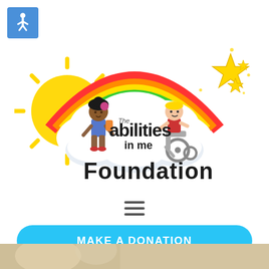[Figure (logo): The Abilities in Me Foundation logo featuring a rainbow, clouds, sun, cartoon children (one in a wheelchair), and gold stars]
[Figure (other): Hamburger menu icon (three horizontal lines)]
MAKE A DONATION
[Figure (photo): Partial photo of a child at the bottom of the page]